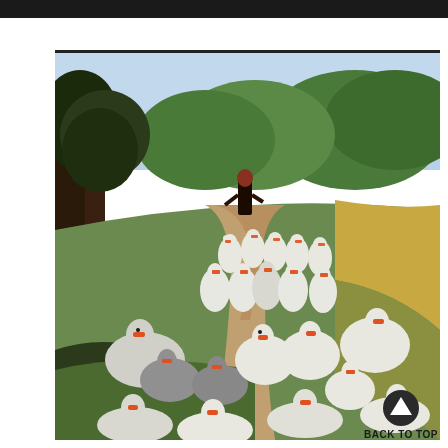[Figure (illustration): A painting of a flock of white geese with orange beaks being herded along a rural dirt path by a figure in the background. The scene is set in a wooded landscape with green trees and golden light. The geese fill the foreground and middle ground.]
BACK TO TOP